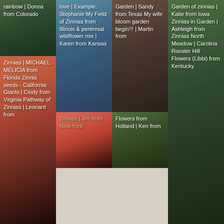[Figure (photo): Garden path with text overlay: rainbow | Donna from Colorado]
[Figure (photo): Sky/clouds with text overlay: love | Example: Stephanie My Field of Zinnias from Illinois & perennial wildflower mix | Karen from Kansas]
[Figure (photo): Brick garden photo with text overlay: Garden | Sandy from Texas My wife bloom garden begin!!! | Martin from]
[Figure (photo): Garden of zinnias with text: Garden of zinnias | Katie from Iowa Zinnias in Garden | Ashleigh from Zinnias North Meadow | Carolina Rooster Hill Flowers (Libbi) from Kentucky]
[Figure (photo): Zinnia flowers with text: Zinnias | MICHAEL MELICIA from Florida Zinnia seeds - California Giants | Cindy from Virginia Pathway of Zinnias | Leonard from]
[Figure (photo): Zinnia flower close-up with text: Zinnias | Jim from New York]
[Figure (photo): Garden/flowers with text: Flowers from Holland | Ken from]
[Figure (photo): Evening garden with text: Garden of zinnias | Katie from Iowa ... Flowers (Libbi) from Kentucky]